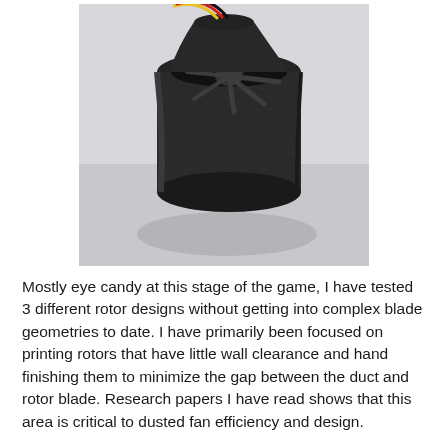[Figure (photo): A 3D-printed ducted fan unit (EDF - electric ducted fan) shown at an angle. The fan is dark black/charcoal colored with a cylindrical duct housing and visible rotor blades inside. Three colored wires (yellow, red, black) exit from the top rear. The fan is resting on a light gray surface.]
Mostly eye candy at this stage of the game, I have tested 3 different rotor designs without getting into complex blade geometries to date. I have primarily been focused on printing rotors that have little wall clearance and hand finishing them to minimize the gap between the duct and rotor blade. Research papers I have read shows that this area is critical to dusted fan efficiency and design.